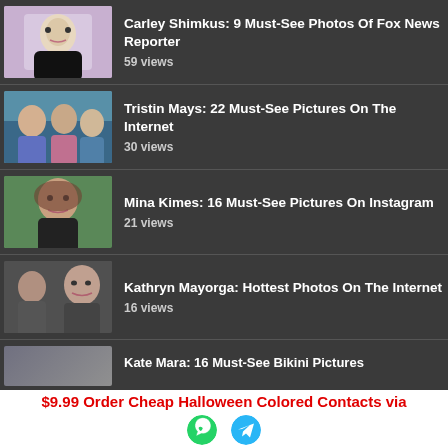Carley Shimkus: 9 Must-See Photos Of Fox News Reporter — 59 views
Tristin Mays: 22 Must-See Pictures On The Internet — 30 views
Mina Kimes: 16 Must-See Pictures On Instagram — 21 views
Kathryn Mayorga: Hottest Photos On The Internet — 16 views
Kate Mara: 16 Must-See Bikini Pictures
$9.99 Order Cheap Halloween Colored Contacts via